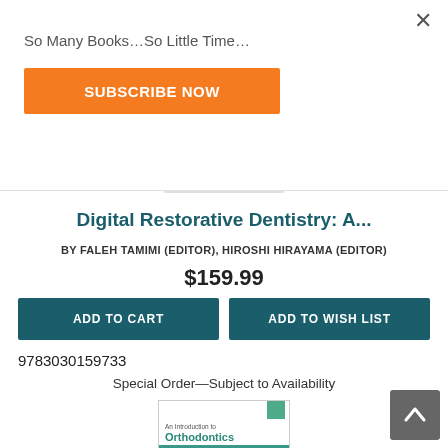So Many Books…So Little Time…
SUBSCRIBE NOW
Digital Restorative Dentistry: A...
BY FALEH TAMIMI (EDITOR), HIROSHI HIRAYAMA (EDITOR)
$159.99
ADD TO CART
ADD TO WISH LIST
9783030159733
Special Order—Subject to Availability
[Figure (illustration): Book cover preview for 'An Introduction to Orthodontics' showing teal/green color scheme with dental braces imagery]